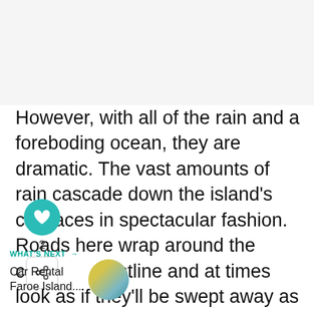[Figure (photo): Image area at the top of the page (appears blank/light gray in the screenshot)]
However, with all of the rain and a foreboding ocean, they are dramatic. The vast amounts of rain cascade down the island's cliff faces in spectacular fashion. Roads here wrap around the coastline and at times look as if they'll be swept away as waterfalls from
[Figure (other): Social sidebar widget with a teal heart button, count of 2, and share button]
WHAT'S NEXT → Car Rental Faroe Island...